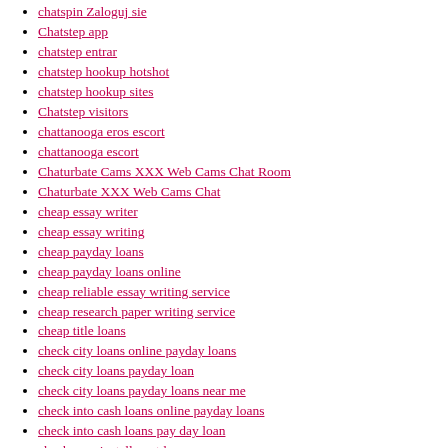chatspin was kostet
chatspin Zaloguj sie
Chatstep app
chatstep entrar
chatstep hookup hotshot
chatstep hookup sites
Chatstep visitors
chattanooga eros escort
chattanooga escort
Chaturbate Cams XXX Web Cams Chat Room
Chaturbate XXX Web Cams Chat
cheap essay writer
cheap essay writing
cheap payday loans
cheap payday loans online
cheap reliable essay writing service
cheap research paper writing service
cheap title loans
check city loans online payday loans
check city loans payday loan
check city loans payday loans near me
check into cash loans online payday loans
check into cash loans pay day loan
check n go installment loans
check n go loans best online payday loans